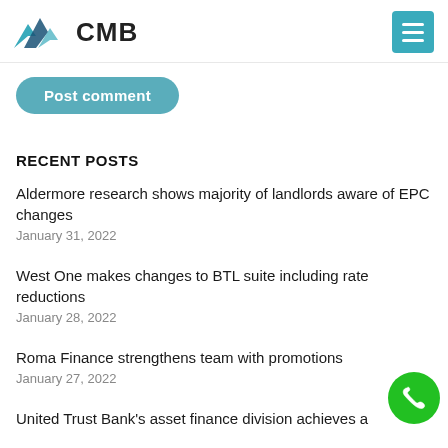CMB
Post comment
RECENT POSTS
Aldermore research shows majority of landlords aware of EPC changes
January 31, 2022
West One makes changes to BTL suite including rate reductions
January 28, 2022
Roma Finance strengthens team with promotions
January 27, 2022
United Trust Bank's asset finance division achieves a